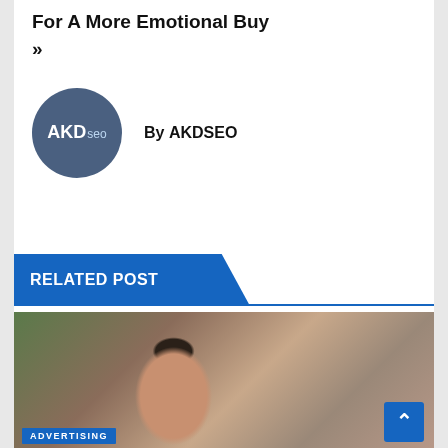For A More Emotional Buy »
By AKDSEO
[Figure (logo): AKDseo circular logo with dark blue-gray background, white text reading AKD and seo]
RELATED POST
[Figure (photo): Photo of a young woman smiling, seated indoors with plants in background]
ADVERTISING